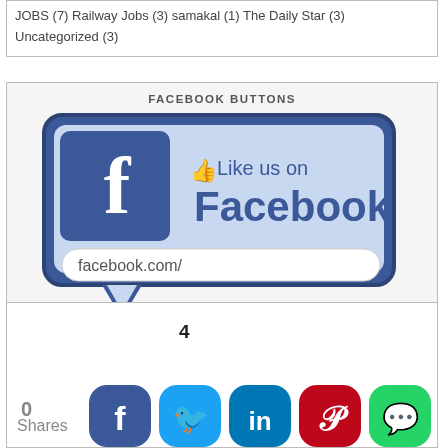JOBS (7) Railway Jobs (3) samakal (1) The Daily Star (3) Uncategorized (3)
FACEBOOK BUTTONS
[Figure (illustration): Facebook Like us on Facebook button widget with facebook.com/ URL field, styled as a speech bubble with blue Facebook branding]
[Figure (infographic): Social share bar showing 0 shares total and 4 Facebook shares, with colored circular icons for Facebook (dark blue), Twitter (light blue), LinkedIn (teal), Pinterest (red), and WhatsApp (green)]